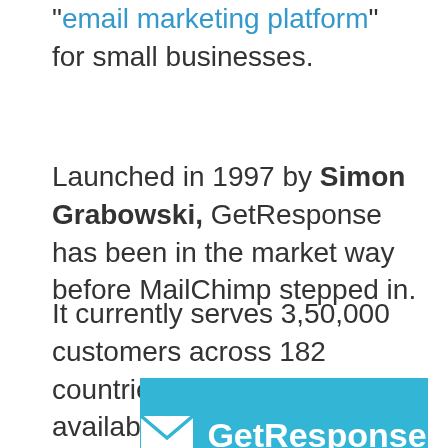"email marketing platform" for small businesses.
Launched in 1997 by Simon Grabowski, GetResponse has been in the market way before MailChimp stepped in.
It currently serves 3,50,000 customers across 182 countries. The tool is available in 21 different languages.
[Figure (logo): GetResponse logo on a light blue background with envelope icon and white text 'GetResponse']